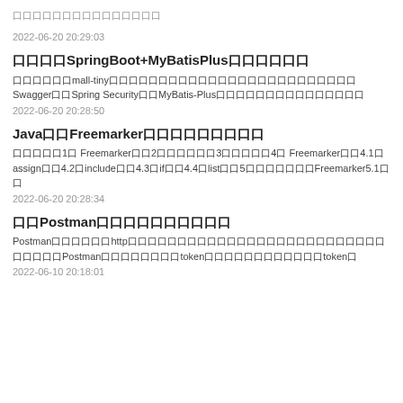口口口口口口口口口口口口口口口
2022-06-20 20:29:03
口口口口SpringBoot+MyBatisPlus口口口口口口
口口口口口口mall-tiny口口口口口口口口口口口口口口口口口口口口口口口口口Swagger口口Spring Security口口MyBatis-Plus口口口口口口口口口口口口口口口
2022-06-20 20:28:50
Java口口Freemarker口口口口口口口口口
口口口口口1口 Freemarker口口2口口口口口口3口口口口口4口 Freemarker口口4.1口assign口口4.2口include口口4.3口if口口4.4口list口口5口口口口口口口Freemarker5.1口口
2022-06-20 20:28:34
口口Postman口口口口口口口口口口
Postman口口口口口口http口口口口口口口口口口口口口口口口口口口口口口口口口口口口口口口Postman口口口口口口口口token口口口口口口口口口口口口token口
2022-06-10 20:18:01